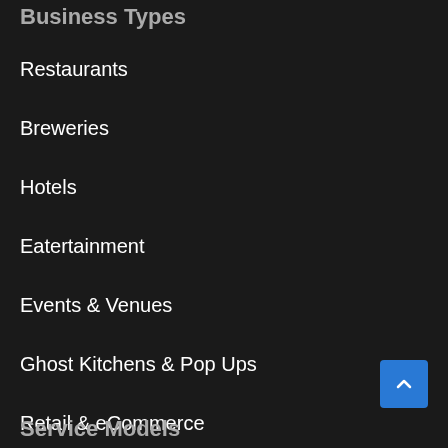Business Types
Restaurants
Breweries
Hotels
Eatertainment
Events & Venues
Ghost Kitchens & Pop Ups
Retail & eCommerce
Service Models